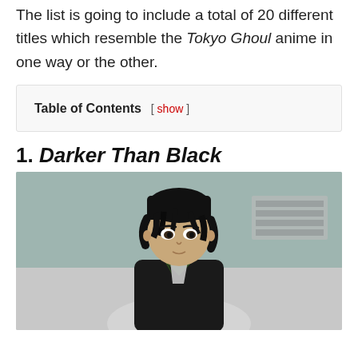The list is going to include a total of 20 different titles which resemble the Tokyo Ghoul anime in one way or the other.
Table of Contents [ show ]
1. Darker Than Black
[Figure (photo): Anime character screenshot from Darker Than Black showing a young male character with dark hair wearing a black jacket with green collar lining, looking forward with a serious expression. Background shows a gray interior setting.]